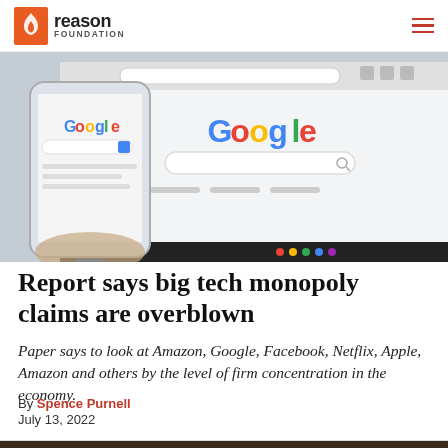Reason Foundation
[Figure (photo): Hand holding a smartphone displaying Google search page in front of a laptop also showing Google, close-up photo]
Report says big tech monopoly claims are overblown
Paper says to look at Amazon, Google, Facebook, Netflix, Apple, Amazon and others by the level of firm concentration in the economy.
By Spence Purnell
July 13, 2022
[Figure (photo): Partial view of a sign with green text reading 'eco' or similar, partially cut off at bottom of page]